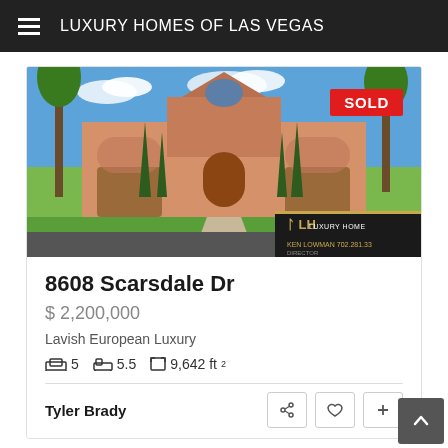LUXURY HOMES OF LAS VEGAS
[Figure (photo): Luxury Mediterranean-style home with palm trees, arched garage doors, manicured lawn, and cypress trees. Red SOLD badge in upper right corner.]
8608 Scarsdale Dr
$ 2,200,000
Lavish European Luxury
5 beds · 5.5 baths · 9,642 ft²
Tyler Brady